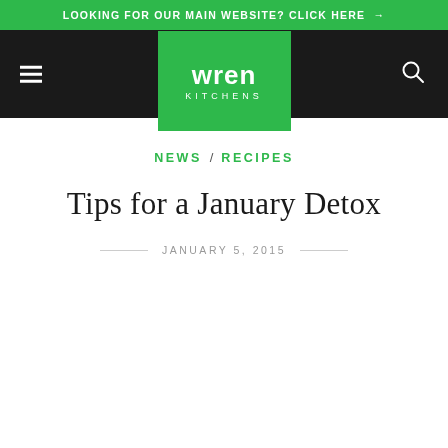LOOKING FOR OUR MAIN WEBSITE? CLICK HERE →
[Figure (logo): Wren Kitchens logo — white bold text 'wren' above 'KITCHENS' in spaced caps, on a green square background, centered in a black navigation bar with hamburger menu left and search icon right]
NEWS / RECIPES
Tips for a January Detox
JANUARY 5, 2015